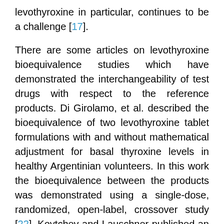levothyroxine in particular, continues to be a challenge [17].
There are some articles on levothyroxine bioequivalence studies which have demonstrated the interchangeability of test drugs with respect to the reference products. Di Girolamo, et al. described the bioequivalence of two levothyroxine tablet formulations with and without mathematical adjustment for basal thyroxine levels in healthy Argentinian volunteers. In this work the bioequivalence between the products was demonstrated using a single-dose, randomized, open-label, crossover study [22]. Koytchev and Lauschner published an article entitled "Bioequivalence Study of Levothyroxine Tablets Compared to Reference Tablets and an Oral Solution" in